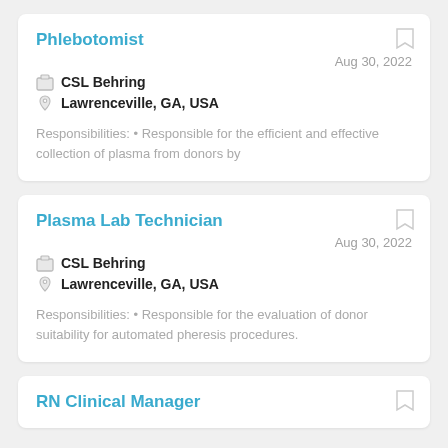Phlebotomist
Aug 30, 2022
CSL Behring
Lawrenceville, GA, USA
Responsibilities: • Responsible for the efficient and effective collection of plasma from donors by
Plasma Lab Technician
Aug 30, 2022
CSL Behring
Lawrenceville, GA, USA
Responsibilities: • Responsible for the evaluation of donor suitability for automated pheresis procedures.
RN Clinical Manager